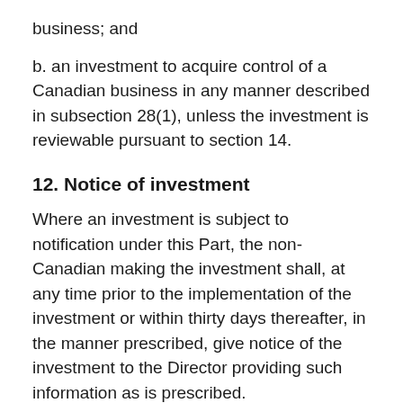business; and
b. an investment to acquire control of a Canadian business in any manner described in subsection 28(1), unless the investment is reviewable pursuant to section 14.
12. Notice of investment
Where an investment is subject to notification under this Part, the non-Canadian making the investment shall, at any time prior to the implementation of the investment or within thirty days thereafter, in the manner prescribed, give notice of the investment to the Director providing such information as is prescribed.
13. Receipt